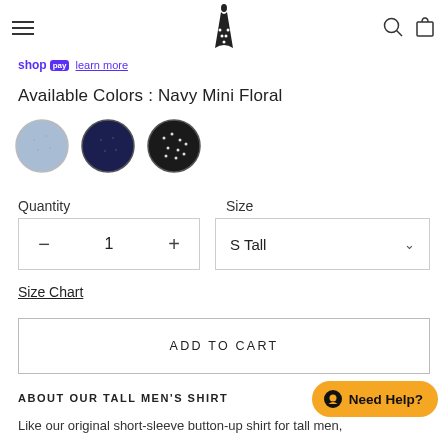Navigation header with hamburger menu, logo, search and cart icons
shop pay learn more
Available Colors : Navy Mini Floral
[Figure (illustration): Three circular color swatches: light blue, navy, and dark with white dot pattern (Navy Mini Floral)]
Quantity
Size
- 1 +
S Tall
Size Chart
ADD TO CART
ABOUT OUR TALL MEN'S SHIRT
Need Help?
Like our original short-sleeve button-up shirt for tall men,